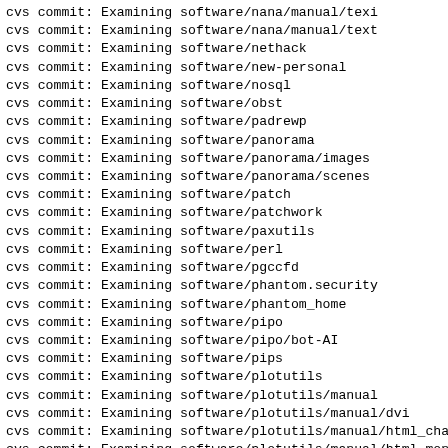cvs commit: Examining software/nana/manual/texi
cvs commit: Examining software/nana/manual/text
cvs commit: Examining software/nethack
cvs commit: Examining software/new-personal
cvs commit: Examining software/nosql
cvs commit: Examining software/obst
cvs commit: Examining software/padrewp
cvs commit: Examining software/panorama
cvs commit: Examining software/panorama/images
cvs commit: Examining software/panorama/scenes
cvs commit: Examining software/patch
cvs commit: Examining software/patchwork
cvs commit: Examining software/paxutils
cvs commit: Examining software/perl
cvs commit: Examining software/pgccfd
cvs commit: Examining software/phantom.security
cvs commit: Examining software/phantom_home
cvs commit: Examining software/pipo
cvs commit: Examining software/pipo/bot-AI
cvs commit: Examining software/pips
cvs commit: Examining software/plotutils
cvs commit: Examining software/plotutils/manual
cvs commit: Examining software/plotutils/manual/dvi
cvs commit: Examining software/plotutils/manual/html_chap
cvs commit: Examining software/plotutils/manual/html_mono
cvs commit: Examining software/plotutils/manual/html_node
cvs commit: Examining software/plotutils/manual/info
cvs commit: Examining software/plotutils/manual/ps
cvs commit: Examining software/plotutils/manual/texi
cvs commit: Examining software/plotutils/manual/text